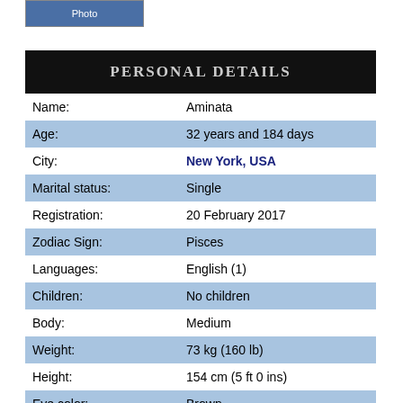[Figure (photo): Partial profile photo stub showing 'Photo' label]
PERSONAL DETAILS
| Field | Value |
| --- | --- |
| Name: | Aminata |
| Age: | 32 years and 184 days |
| City: | New York, USA |
| Marital status: | Single |
| Registration: | 20 February 2017 |
| Zodiac Sign: | Pisces |
| Languages: | English (1) |
| Children: | No children |
| Body: | Medium |
| Weight: | 73 kg (160 lb) |
| Height: | 154 cm (5 ft 0 ins) |
| Eye color: | Brown |
| Hair color: | Black |